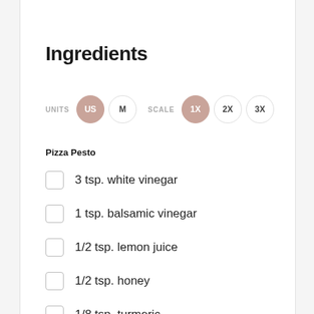Ingredients
UNITS  US  M    SCALE  1X  2X  3X
Pizza Pesto
3 tsp. white vinegar
1 tsp. balsamic vinegar
1/2 tsp. lemon juice
1/2 tsp. honey
1/8 tsp. turmeric